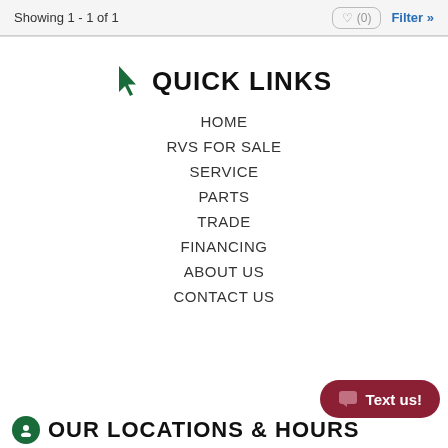Showing 1 - 1 of 1
QUICK LINKS
HOME
RVS FOR SALE
SERVICE
PARTS
TRADE
FINANCING
ABOUT US
CONTACT US
Text us!
OUR LOCATIONS & HOURS